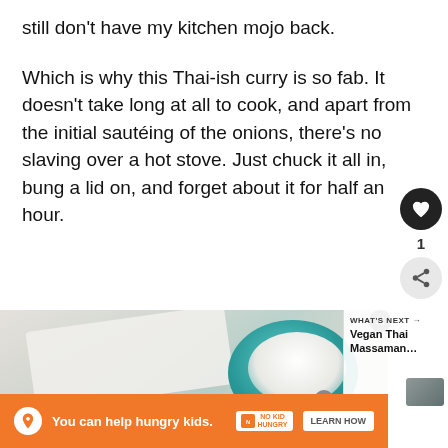still don't have my kitchen mojo back.
Which is why this Thai-ish curry is so fab. It doesn't take long at all to cook, and apart from the initial sautéing of the onions, there's no slaving over a hot stove. Just chuck it all in, bung a lid on, and forget about it for half an hour.
[Figure (photo): Photo of a teal/turquoise bowl with white rice or cauliflower rice on a rustic white wood surface with white napkin and green herbs]
WHAT'S NEXT → Vegan Thai Massaman…
You can help hungry kids.
LEARN HOW